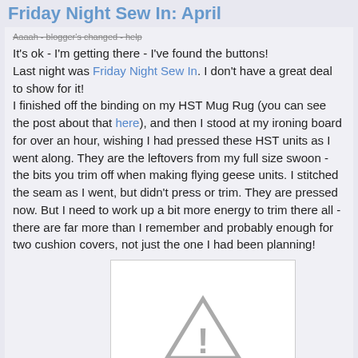Friday Night Sew In: April
Aaaah - blogger's changed - help
It's ok - I'm getting there - I've found the buttons! Last night was Friday Night Sew In. I don't have a great deal to show for it! I finished off the binding on my HST Mug Rug (you can see the post about that here), and then I stood at my ironing board for over an hour, wishing I had pressed these HST units as I went along. They are the leftovers from my full size swoon - the bits you trim off when making flying geese units. I stitched the seam as I went, but didn't press or trim. They are pressed now. But I need to work up a bit more energy to trim there all - there are far more than I remember and probably enough for two cushion covers, not just the one I had been planning!
[Figure (other): Image placeholder with a warning triangle icon indicating a broken or missing image]